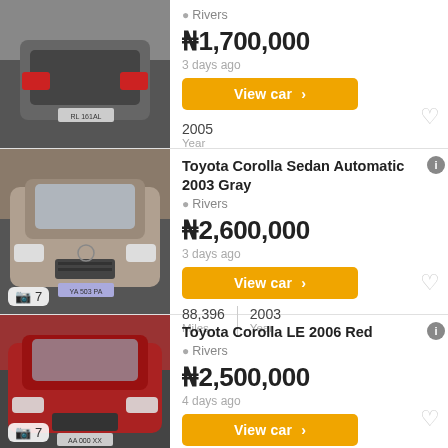[Figure (photo): Rear view of a gray sedan car, partially visible at top of page]
Rivers
₦1,700,000
3 days ago
View car >
2005
Year
[Figure (photo): Front view of a gray/beige Toyota Corolla Sedan, photo count badge showing 7]
Toyota Corolla Sedan Automatic 2003 Gray
Rivers
₦2,600,000
3 days ago
View car >
88,396
Miles
2003
Year
[Figure (photo): Front view of a red Toyota Corolla LE, photo count badge showing 7]
Toyota Corolla LE 2006 Red
Rivers
₦2,500,000
4 days ago
View car >